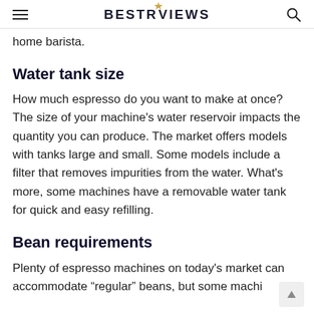BESTREVIEWS
home barista.
Water tank size
How much espresso do you want to make at once? The size of your machine’s water reservoir impacts the quantity you can produce. The market offers models with tanks large and small. Some models include a filter that removes impurities from the water. What’s more, some machines have a removable water tank for quick and easy refilling.
Bean requirements
Plenty of espresso machines on today’s market can accommodate “regular” beans, but some machi…